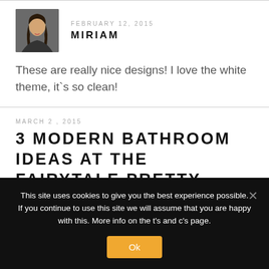[Figure (photo): Avatar photo of Miriam, a woman with long dark hair]
FEBRUARY 12, 2015
MIRIAM
These are really nice designs! I love the white theme, it`s so clean!
MARCH 2, 2015
3 MODERN BATHROOM IDEAS AT THE FAIRYTALE PRETTY...
This site uses cookies to give you the best experience possible. If you continue to use this site we will assume that you are happy with this. More info on the t's and c's page.